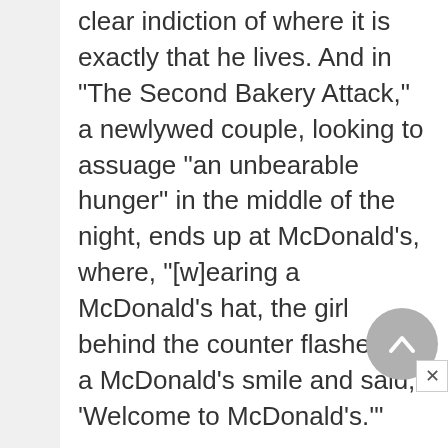clear indiction of where it is exactly that he lives. And in "The Second Bakery Attack," a newlywed couple, looking to assuage "an unbearable hunger" in the middle of the night, ends up at McDonald's, where, "[w]earing a McDonald's hat, the girl behind the counter flashed me a McDonald's smile and said, 'Welcome to McDonald's.'"
"The Second Bakery Attack," actually, works as a signifier for the entire collection... starting off with a continuation...